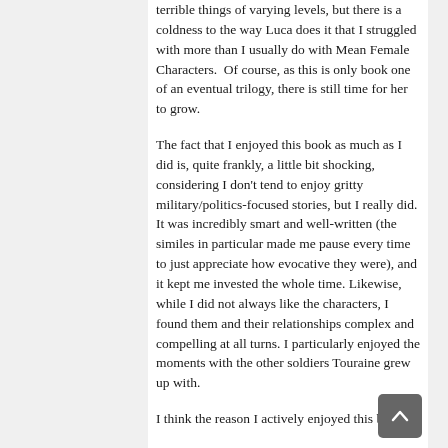terrible things of varying levels, but there is a coldness to the way Luca does it that I struggled with more than I usually do with Mean Female Characters.  Of course, as this is only book one of an eventual trilogy, there is still time for her to grow.
The fact that I enjoyed this book as much as I did is, quite frankly, a little bit shocking, considering I don't tend to enjoy gritty military/politics-focused stories, but I really did. It was incredibly smart and well-written (the similes in particular made me pause every time to just appreciate how evocative they were), and it kept me invested the whole time. Likewise, while I did not always like the characters, I found them and their relationships complex and compelling at all turns. I particularly enjoyed the moments with the other soldiers Touraine grew up with.
I think the reason I actively enjoyed this book